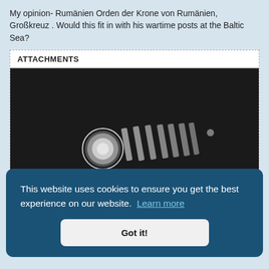My opinion- Rumänien Orden der Krone von Rumänien, Großkreuz . Would this fit in with his wartime posts at the Baltic Sea?
ATTACHMENTS
[Figure (photo): A dark/black background photograph showing a blurry military medal or decoration — a round circular medallion on the left and a cross-shaped or ribbon element extending to the right, rendered in white/grey tones against the dark background.]
This website uses cookies to ensure you get the best experience on our website. Learn more
Got it!